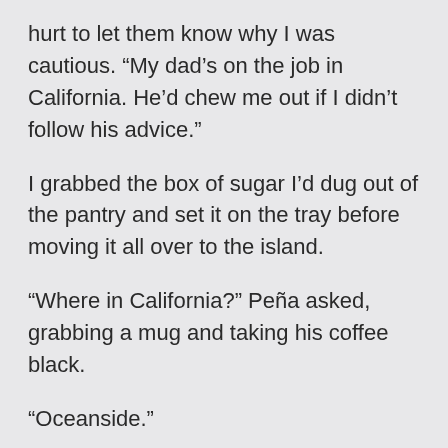hurt to let them know why I was cautious. “My dad’s on the job in California. He’d chew me out if I didn’t follow his advice.”
I grabbed the box of sugar I’d dug out of the pantry and set it on the tray before moving it all over to the island.
“Where in California?” Peña asked, grabbing a mug and taking his coffee black.
“Oceanside.”
“San Diego area, right? Nice.”
“It is, yes.”
Williams took her coffee with a splash of half-and-